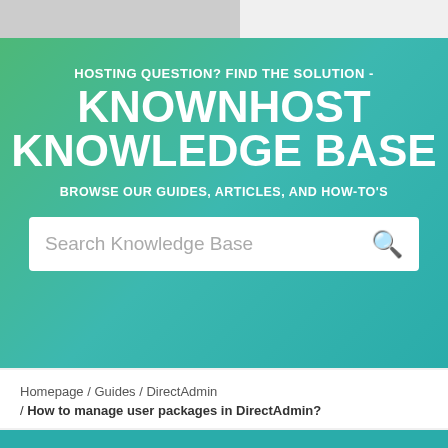[Figure (screenshot): Grey top navigation bar placeholder]
HOSTING QUESTION? FIND THE SOLUTION - KNOWNHOST KNOWLEDGE BASE
BROWSE OUR GUIDES, ARTICLES, AND HOW-TO'S
Search Knowledge Base
Homepage / Guides / DirectAdmin / How to manage user packages in DirectAdmin?